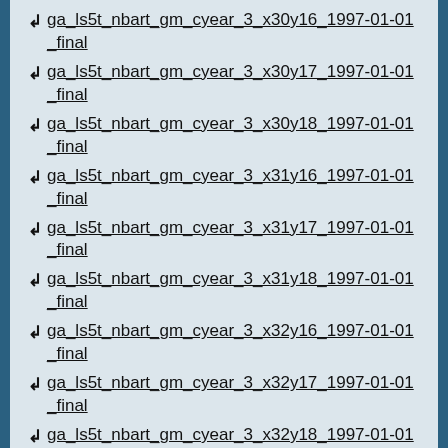ga_ls5t_nbart_gm_cyear_3_x30y16_1997-01-01_final
ga_ls5t_nbart_gm_cyear_3_x30y17_1997-01-01_final
ga_ls5t_nbart_gm_cyear_3_x30y18_1997-01-01_final
ga_ls5t_nbart_gm_cyear_3_x31y16_1997-01-01_final
ga_ls5t_nbart_gm_cyear_3_x31y17_1997-01-01_final
ga_ls5t_nbart_gm_cyear_3_x31y18_1997-01-01_final
ga_ls5t_nbart_gm_cyear_3_x32y16_1997-01-01_final
ga_ls5t_nbart_gm_cyear_3_x32y17_1997-01-01_final
ga_ls5t_nbart_gm_cyear_3_x32y18_1997-01-01_final
ga_ls_fc_3_099084_1997-03-21_final